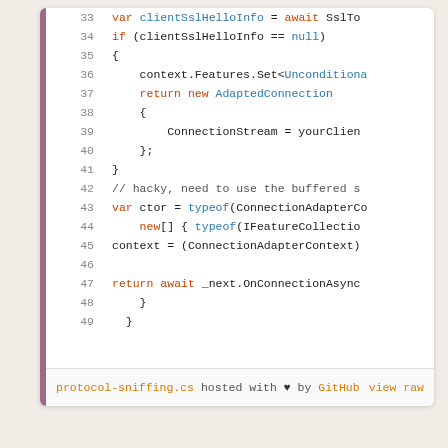[Figure (screenshot): GitHub Gist code viewer showing C# code lines 33-49 with syntax highlighting. Left purple bar, line numbers in gray, keywords in red/orange, types in blue. Footer shows filename 'protocol-sniffing.cs hosted with heart by GitHub' and 'view raw' link.]